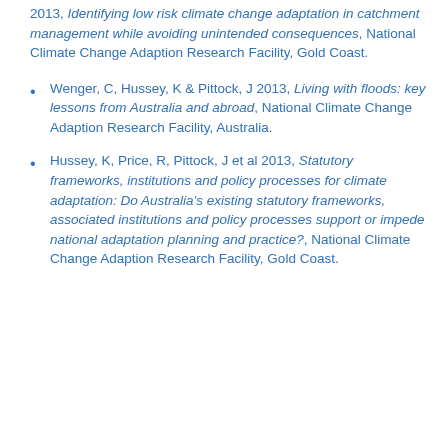2013, Identifying low risk climate change adaptation in catchment management while avoiding unintended consequences, National Climate Change Adaption Research Facility, Gold Coast.
Wenger, C, Hussey, K & Pittock, J 2013, Living with floods: key lessons from Australia and abroad, National Climate Change Adaption Research Facility, Australia.
Hussey, K, Price, R, Pittock, J et al 2013, Statutory frameworks, institutions and policy processes for climate adaptation: Do Australia's existing statutory frameworks, associated institutions and policy processes support or impede national adaptation planning and practice?, National Climate Change Adaption Research Facility, Gold Coast.